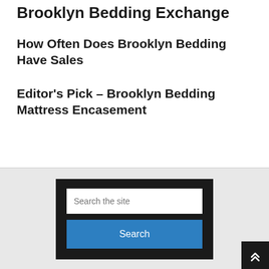Brooklyn Bedding Exchange
How Often Does Brooklyn Bedding Have Sales
Editor's Pick – Brooklyn Bedding Mattress Encasement
Search the site
Search